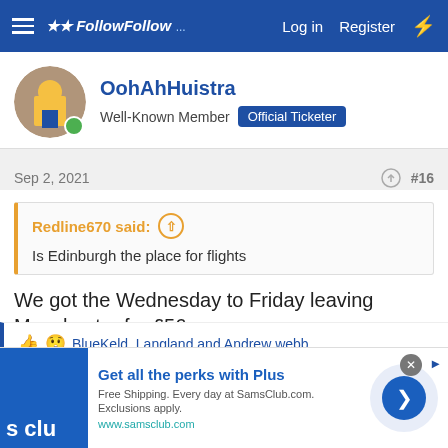FollowFollow — Log in  Register
OohAhHuistra
Well-Known Member  Official Ticketer
Sep 2, 2021  #16
Redline670 said:
Is Edinburgh the place for flights
We got the Wednesday to Friday leaving Manchester for £56
👍 😮 BlueKeld, Langland and Andrew webb
[Figure (screenshot): Advertisement banner for SamsClub.com showing 'Get all the perks with Plus' with S Club logo and navigation arrow]